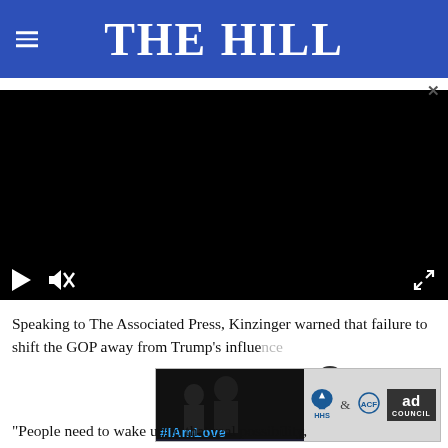THE HILL
[Figure (screenshot): Embedded video player with black background, showing play button, mute button, and fullscreen expand icon. Video content is not visible (black screen).]
Speaking to The Associated Press, Kinzinger warned that failure to shift the GOP away from Trump's influence
[Figure (other): Advertisement overlay showing a child with an adult in background; ACF (Administration for Children and Families) and Ad Council logos on right side. Close button (X) overlaid on the ad.]
"People need to wake up to that real possibility,